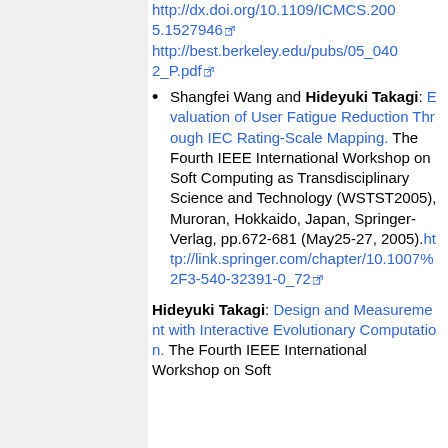http://dx.doi.org/10.1109/ICMCS.2005.1527946 http://best.berkeley.edu/pubs/05_0402_P.pdf
Shangfei Wang and Hideyuki Takagi: Evaluation of User Fatigue Reduction Through IEC Rating-Scale Mapping. The Fourth IEEE International Workshop on Soft Computing as Transdisciplinary Science and Technology (WSTST2005), Muroran, Hokkaido, Japan, Springer-Verlag, pp.672-681 (May25-27, 2005). http://link.springer.com/chapter/10.1007%2F3-540-32391-0_72
Hideyuki Takagi: Design and Measurement with Interactive Evolutionary Computation. The Fourth IEEE International Workshop on Soft